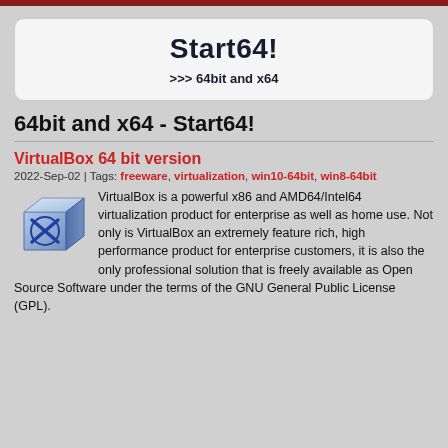Start64!
>>> 64bit and x64
64bit and x64 - Start64!
VirtualBox 64 bit version
2022-Sep-02 | Tags: freeware, virtualization, win10-64bit, win8-64bit
[Figure (logo): VirtualBox blue and silver cube logo]
VirtualBox is a powerful x86 and AMD64/Intel64 virtualization product for enterprise as well as home use. Not only is VirtualBox an extremely feature rich, high performance product for enterprise customers, it is also the only professional solution that is freely available as Open Source Software under the terms of the GNU General Public License (GPL).